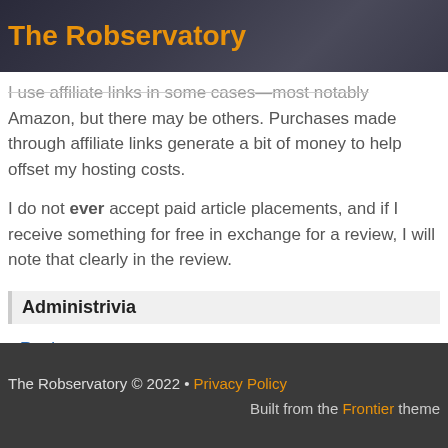The Robservatory
I use affiliate links in some cases—most notably Amazon, but there may be others. Purchases made through affiliate links generate a bit of money to help offset my hosting costs.
I do not ever accept paid article placements, and if I receive something for free in exchange for a review, I will note that clearly in the review.
Administrivia
Register
Log in
Entries RSS
Comments RSS
The Robservatory © 2022 • Privacy Policy
Built from the Frontier theme